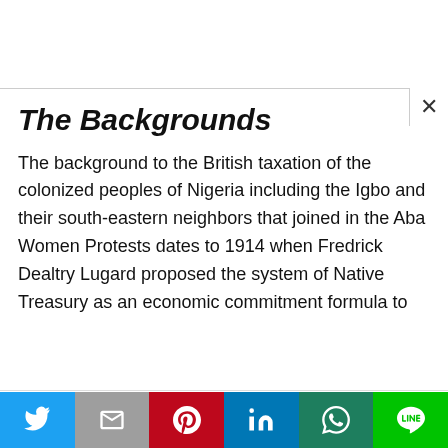The Backgrounds
The background to the British taxation of the colonized peoples of Nigeria including the Igbo and their south-eastern neighbors that joined in the Aba Women Protests dates to 1914 when Fredrick Dealtry Lugard proposed the system of Native Treasury as an economic commitment formula to
This website uses cookies.
[Figure (other): Social share bar with Twitter, Gmail, Pinterest, LinkedIn, WhatsApp, and LINE buttons]